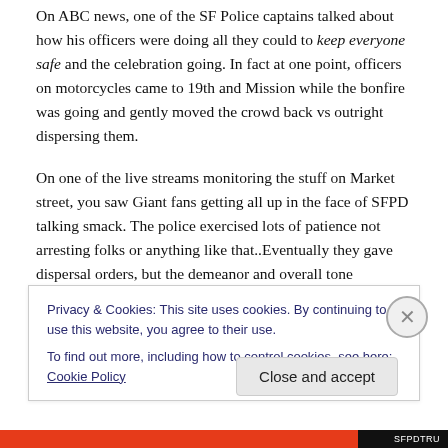On ABC news, one of the SF Police captains talked about how his officers were doing all they could to keep everyone safe and the celebration going. In fact at one point, officers on motorcycles came to 19th and Mission while the bonfire was going and gently moved the crowd back vs outright dispersing them.

On one of the live streams monitoring the stuff on Market street, you saw Giant fans getting all up in the face of SFPD talking smack. The police exercised lots of patience not arresting folks or anything like that..Eventually they gave dispersal orders, but the demeanor and overall tone
Privacy & Cookies: This site uses cookies. By continuing to use this website, you agree to their use.
To find out more, including how to control cookies, see here: Cookie Policy
Close and accept